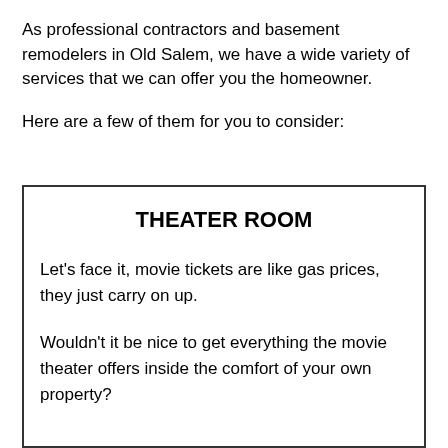As professional contractors and basement remodelers in Old Salem, we have a wide variety of services that we can offer you the homeowner.
Here are a few of them for you to consider:
THEATER ROOM
Let's face it, movie tickets are like gas prices, they just carry on up.
Wouldn't it be nice to get everything the movie theater offers inside the comfort of your own property?